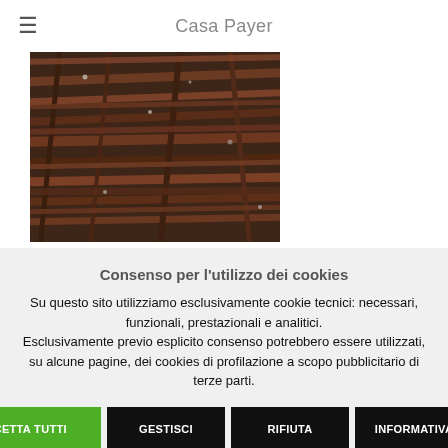Casa Payer
[Figure (photo): Close-up photograph of bundled dried branches/sticks piled together, dark reddish-brown tones]
Consenso per l'utilizzo dei cookies
Su questo sito utilizziamo esclusivamente cookie tecnici: necessari, funzionali, prestazionali e analitici. Esclusivamente previo esplicito consenso potrebbero essere utilizzati, su alcune pagine, dei cookies di profilazione a scopo pubblicitario di terze parti.
ACCETTA TUTTI  GESTISCI  RIFIUTA  INFORMATIVA .